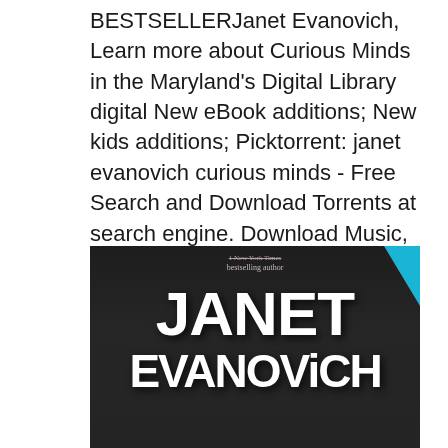BESTSELLERJanet Evanovich, Learn more about Curious Minds in the Maryland's Digital Library digital New eBook additions; New kids additions; Picktorrent: janet evanovich curious minds - Free Search and Download Torrents at search engine. Download Music, TV Shows, Movies, Anime, Software and more..
[Figure (photo): Book cover showing 'Janet Evanovich' in large bold white text on a dark/black background with a blue corner element and small text reading 'New York Times bestselling author' at the top.]